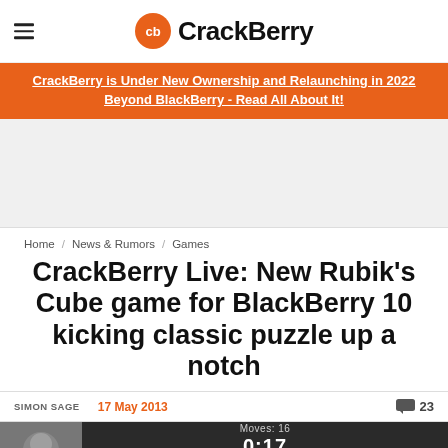CrackBerry
CrackBerry is Under New Ownership and Relaunching in 2022 Beyond BlackBerry - Read All About It!
Home / News & Rumors / Games
CrackBerry Live: New Rubik's Cube game for BlackBerry 10 kicking classic puzzle up a notch
SIMON SAGE   17 May 2013   23 comments
[Figure (screenshot): Video thumbnail strip showing a person and a video player interface with timer showing 0:17 and Moves: 16]